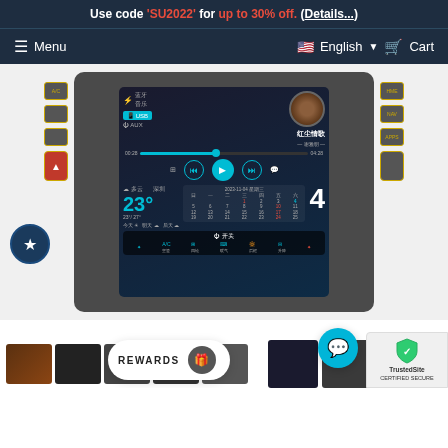Use code 'SU2022' for up to 30% off. (Details...)
Menu | English | Cart
[Figure (photo): Car stereo head unit showing a large touchscreen display with music player (playing 红尘情歌 by 谢雅明), weather widget showing 23° cloudy, and a calendar showing the 4th. Device has physical buttons on sides and A/C controls at bottom. A star/favorites badge is visible at lower left.]
[Figure (photo): Thumbnail images of the product from different angles at bottom of page, alongside REWARDS badge, TrustedSite certified badge, and a chat support bubble.]